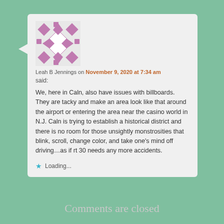[Figure (illustration): Avatar image with a geometric pink/mauve quilt-pattern design on a light background]
Leah B Jennings on November 9, 2020 at 7:34 am
said:
We, here in Caln, also have issues with billboards. They are tacky and make an area look like that around the airport or entering the area near the casino world in N.J. Caln is trying to establish a historical district and there is no room for those unsightly monstrosities that blink, scroll, change color, and take one's mind off driving…as if rt 30 needs any more accidents.
★ Loading...
Comments are closed